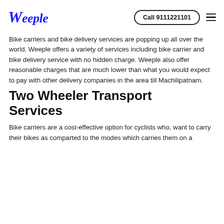Weeple | Call 9111221101
Bike carriers and bike delivery services are popping up all over the world. Weeple offers a variety of services including bike carrier and bike delivery service with no hidden charge. Weeple also offer reasonable charges that are much lower than what you would expect to pay with other delivery companies in the area till Machilipatnam.
Two Wheeler Transport Services
Bike carriers are a cost-effective option for cyclists who, want to carry their bikes as comparted to the modes which carries them on a